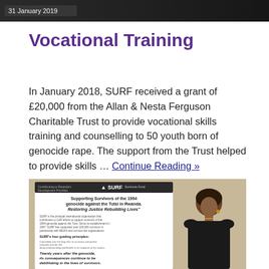[Figure (photo): Dark top banner image with date label '31 January 2019' in white text on dark background]
Vocational Training
In January 2018, SURF received a grant of £20,000 from the Allan & Nesta Ferguson Charitable Trust to provide vocational skills training and counselling to 50 youth born of genocide rape. The support from the Trust helped to provide skills … Continue Reading »
[Figure (photo): Photo of a woman standing next to a SURF (Survivors Fund) promotional banner that reads 'Supporting Survivors of the 1994 genocide against the Tutsi in Rwanda. Restoring Justice Rebuilding Lives' with additional text about SURF's mission and guiding principles.]